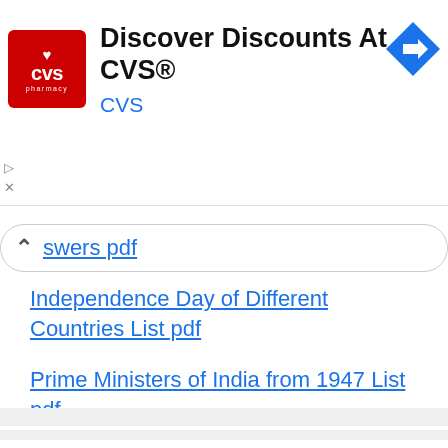[Figure (logo): CVS Pharmacy advertisement banner with red CVS logo, text 'Discover Discounts At CVS®', blue 'CVS' subtext, and a blue navigation arrow icon on the right]
swers pdf
Independence Day of Different Countries List pdf
Prime Ministers of India from 1947 List pdf